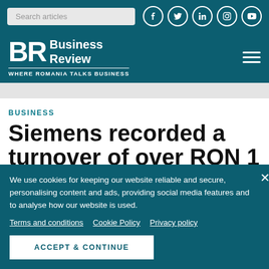Business Review — WHERE ROMANIA TALKS BUSINESS
BUSINESS
Siemens recorded a turnover of over RON 1
We use cookies for keeping our website reliable and secure, personalising content and ads, providing social media features and to analyse how our website is used.
Terms and conditions   Cookie Policy   Privacy policy
ACCEPT & CONTINUE